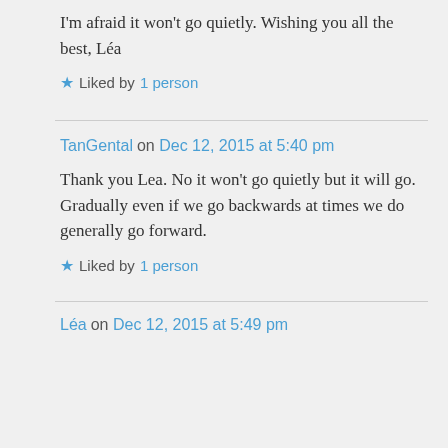I'm afraid it won't go quietly. Wishing you all the best, Léa
Liked by 1 person
TanGental on Dec 12, 2015 at 5:40 pm
Thank you Lea. No it won't go quietly but it will go. Gradually even if we go backwards at times we do generally go forward.
Liked by 1 person
Léa on Dec 12, 2015 at 5:49 pm